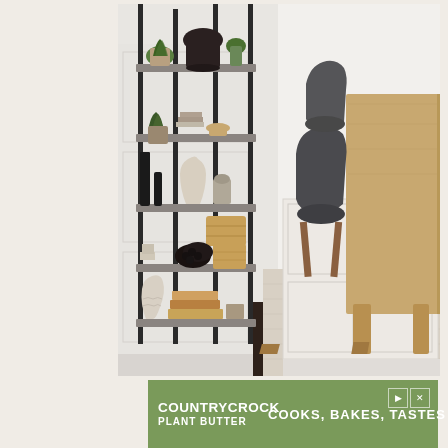[Figure (photo): Interior room photo showing a large black metal open shelving unit with multiple shelves decorated with plants, vases, books, baskets, and decorative objects. To the right is a dining area with a light wood table and dark gray upholstered armchairs on a light cream/beige woven rug. The walls are white with wainscoting paneling.]
[Figure (photo): Advertisement banner for Country Crock Plant Butter with green background. Left side shows 'COUNTRY CROCK PLANT BUTTER' logo in white text. Right side shows tagline 'COOKS, BAKES, TASTES LIKE BUTTER' in large white bold text. Play and close icons in upper right corner.]